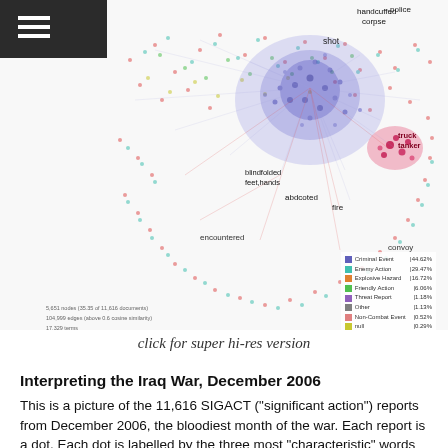[Figure (network-graph): Network graph of 11,616 SIGACT reports from December 2006. Nodes colored by event type (Criminal Event, Enemy Action, Explosive Hazard, Friendly Action, Threat Report, Other, Non-Combat Event, null, Suspicious Incident). Key labeled terms include: handcuffed, corpse, shot, police, blindfolded, feet/hands, abdcoted, encountered, truck/tanker, convoy, fire. Bottom-left stats: 5,651 nodes (35.35 of 11,616 documents), 104,999 edges (above 0.6 cosine similarity), 17,329 terms.]
click for super hi-res version
Interpreting the Iraq War, December 2006
This is a picture of the 11,616 SIGACT ("significant action") reports from December 2006, the bloodiest month of the war. Each report is a dot. Each dot is labelled by the three most "characteristic" words in the document. Dots are coloured by similarity to each other and